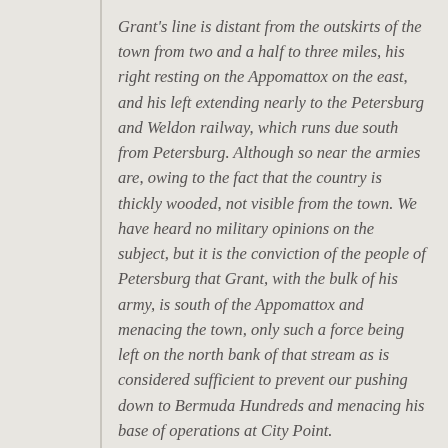Grant's line is distant from the outskirts of the town from two and a half to three miles, his right resting on the Appomattox on the east, and his left extending nearly to the Petersburg and Weldon railway, which runs due south from Petersburg. Although so near the armies are, owing to the fact that the country is thickly wooded, not visible from the town. We have heard no military opinions on the subject, but it is the conviction of the people of Petersburg that Grant, with the bulk of his army, is south of the Appomattox and menacing the town, only such a force being left on the north bank of that stream as is considered sufficient to prevent our pushing down to Bermuda Hundreds and menacing his base of operations at City Point.